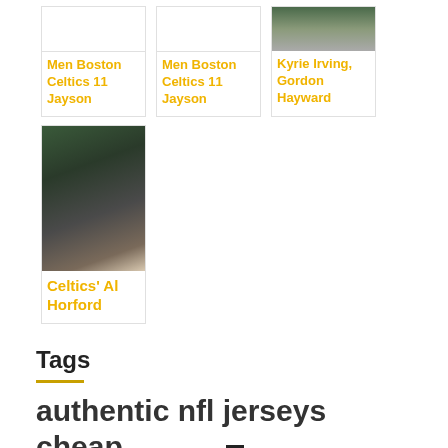[Figure (photo): Product image placeholder (white box) for Men Boston Celtics 11 Jayson]
Men Boston Celtics 11 Jayson
[Figure (photo): Product image placeholder (white box) for Men Boston Celtics 11 Jayson]
Men Boston Celtics 11 Jayson
[Figure (photo): Photo of Kyrie Irving and Gordon Hayward]
Kyrie Irving, Gordon Hayward
[Figure (photo): Photo of Celtics Al Horford - side profile, fist raised]
Celtics' Al Horford
Tags
authentic nfl jerseys cheap Buy 1 Tag available
Jerseys Buy 7 McSorley Trace NFL Jerseys Buy 17 Rivers NFL Jerseys Buy
buy cheap nfl jerseys